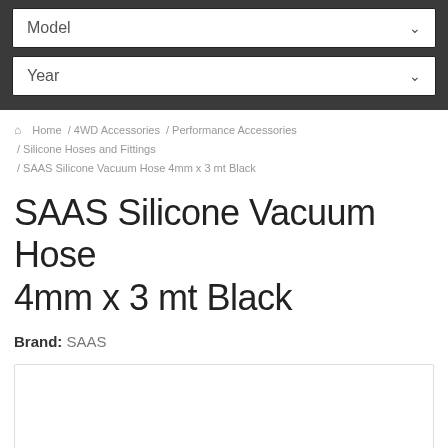Model
Year
Home / 4WD Accessories / Performance Accessories / Silicone Hoses and Fittings / SAAS Silicone Vacuum Hose 4mm x 3 mt Black
SAAS Silicone Vacuum Hose 4mm x 3 mt Black
Brand: SAAS
[Figure (other): Product image placeholder box with border]